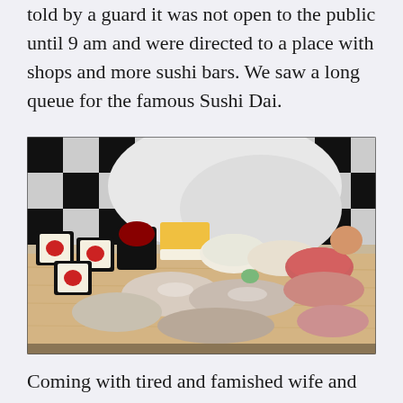told by a guard it was not open to the public until 9 am and were directed to a place with shops and more sushi bars. We saw a long queue for the famous Sushi Dai.
[Figure (photo): A close-up photo of an assortment of nigiri sushi and sushi rolls on a wooden board, with a chef's hand visible in the background against a black and white checkered pattern.]
Coming with tired and famished wife and kids, we were not in the mood to line up so we